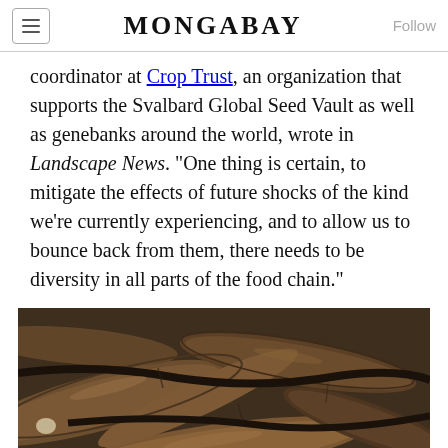MONGABAY
coordinator at Crop Trust, an organization that supports the Svalbard Global Seed Vault as well as genebanks around the world, wrote in Landscape News. "One thing is certain, to mitigate the effects of future shocks of the kind we're currently experiencing, and to allow us to bounce back from them, there needs to be diversity in all parts of the food chain."
[Figure (photo): Close-up photograph of cassava roots (yuca/manioc), showing multiple brown, elongated, woody tubers piled together]